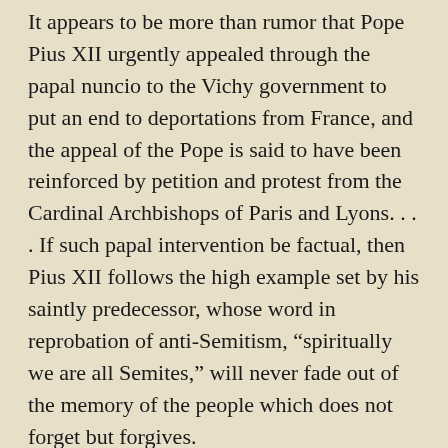It appears to be more than rumor that Pope Pius XII urgently appealed through the papal nuncio to the Vichy government to put an end to deportations from France, and the appeal of the Pope is said to have been reinforced by petition and protest from the Cardinal Archbishops of Paris and Lyons. . . . If such papal intervention be factual, then Pius XII follows the high example set by his saintly predecessor, whose word in reprobation of anti-Semitism, “spiritually we are all Semites,” will never fade out of the memory of the people which does not forget but forgives.
In August 1942, Archbishop Jules Gérard Saliège, from Toulouse, sent a pastoral letter to be read in all churches in his diocese. It said: “There is a Christian morality that confers rights and imposes duties. . . . The Jews are our brothers. They belong to mankind. No Christian can dare forget that!” The Vatican newspaper L’Osservatore Romano praised Saliège as a hero of Christian courage, and when the war ended